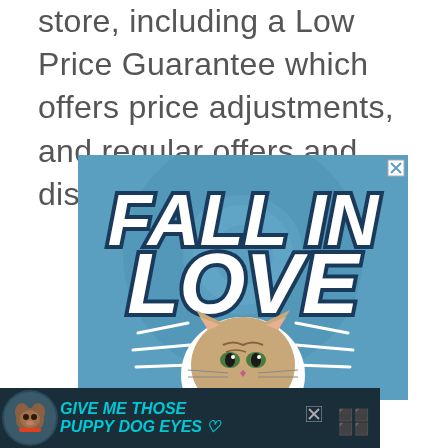store, including a Low Price Guarantee which offers price adjustments, and regular offers and discounts.
[Figure (illustration): Advertisement banner with blue background showing bold white italic text 'FALL IN LOVE' with a cat image in the center and radiating white lines. An X close button is in the top right corner.]
[Figure (illustration): Dark teal bottom advertisement banner showing a dog and bold italic teal text 'GIVE ME THOSE PUPPY DOG EYES' with a heart icon and an X close button. Wayfair logo on the right.]